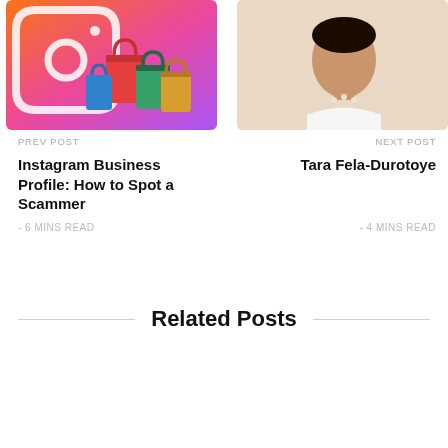[Figure (photo): Instagram shopping bags illustration with colorful bags and Instagram logo gradient background]
[Figure (photo): Portrait photo of Tara Fela-Durotoye, a woman in white outfit]
PREV POST
Instagram Business Profile: How to Spot a Scammer
- 6 MINS READ
NEXT POST
Tara Fela-Durotoye
- 4 MINS READ
Related Posts